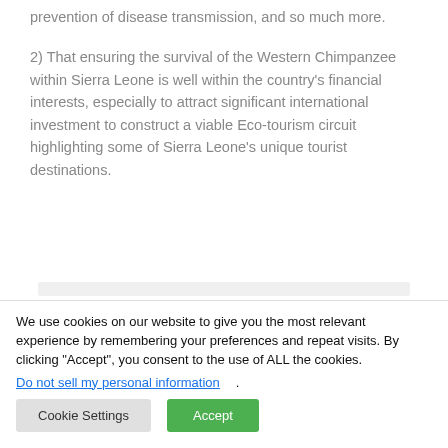prevention of disease transmission, and so much more.
2) That ensuring the survival of the Western Chimpanzee within Sierra Leone is well within the country's financial interests, especially to attract significant international investment to construct a viable Eco-tourism circuit highlighting some of Sierra Leone's unique tourist destinations.
We use cookies on our website to give you the most relevant experience by remembering your preferences and repeat visits. By clicking “Accept”, you consent to the use of ALL the cookies.
Do not sell my personal information.